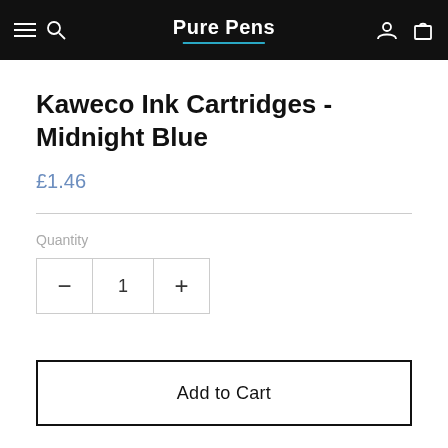Pure Pens
Kaweco Ink Cartridges - Midnight Blue
£1.46
Quantity
1
Add to Cart